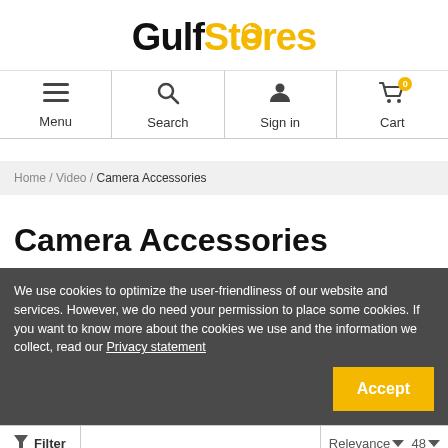[Figure (logo): GulfStores logo with 'Gulf' in black bold and 'Stores' in yellow/gold bold, with a circular arrow inside the 'o' of Stores]
Menu | Search | Sign in | Cart (0)
Home / Video / Camera Accessories
Camera Accessories
We use cookies to optimize the user-friendliness of our website and services. However, we do need your permission to place some cookies. If you want to know more about the cookies we use and the information we collect, read our Privacy statement
Filter | Relevance | 48